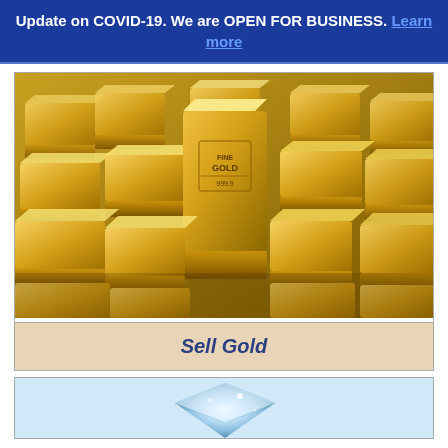Update on COVID-19. We are OPEN FOR BUSINESS. Learn more
[Figure (photo): Multiple gold bars/ingots stacked on top of each other, with one prominent gold bar in the center labeled 'FINE GOLD 999.9']
Sell Gold
[Figure (photo): A sparkling diamond or gemstone on a light blue/white background, partially visible at the bottom of the page]